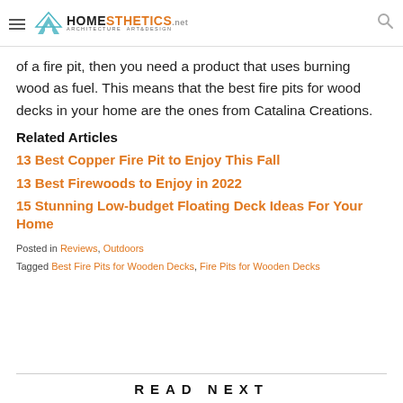Homesthetics — Architecture Art & Design
of a fire pit, then you need a product that uses burning wood as fuel. This means that the best fire pits for wood decks in your home are the ones from Catalina Creations.
Related Articles
13 Best Copper Fire Pit to Enjoy This Fall
13 Best Firewoods to Enjoy in 2022
15 Stunning Low-budget Floating Deck Ideas For Your Home
Posted in Reviews, Outdoors
Tagged Best Fire Pits for Wooden Decks, Fire Pits for Wooden Decks
READ NEXT